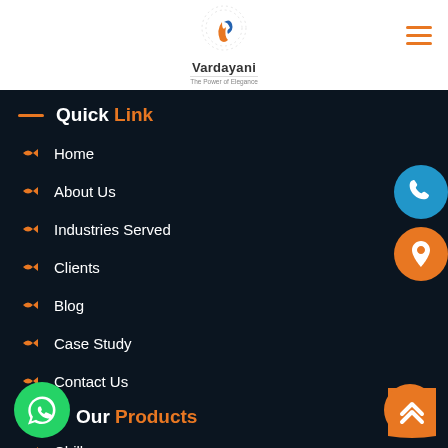[Figure (logo): Vardayani logo with circular dotted pattern, orange flame and blue swirl, text 'Vardayani - The Power of Elegance']
[Figure (other): Orange hamburger menu icon (three horizontal lines) in top right corner]
— Quick Link
Home
About Us
Industries Served
Clients
Blog
Case Study
Contact Us
[Figure (other): Green WhatsApp circular icon button]
Our Products
Chiller
[Figure (other): Blue circular phone icon floating button on right side]
[Figure (other): Orange circular location pin icon floating button on right side]
[Figure (other): Orange rounded square scroll-to-top button with double up arrow chevron]